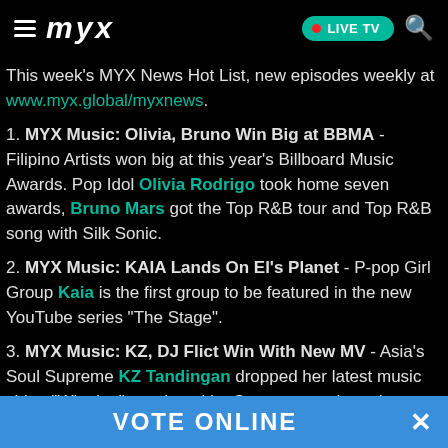MYX — LIVE TV
This week's MYX News Hot List, new episodes weekly at www.myx.global/myxnews.
1. MYX Music: Olivia, Bruno Win Big at BBMA - Filipino Artists won big at this year's Billboard Music Awards. Pop Idol Olivia Rodrigo took home seven awards, Bruno Mars got the Top R&B tour and Top R&B song with Silk Sonic.
2. MYX Music: KAIA Lands On El's Planet - P-pop Girl Group Kaia is the first group to be featured in the new YouTube series "The Stage".
3. MYX Music: KZ, DJ Flict Win With New MV - Asia's Soul Supreme KZ Tandingan dropped her latest music video "Winning", produced by Grammy-nominated Producer DJ Flict
VOTE ONLINE